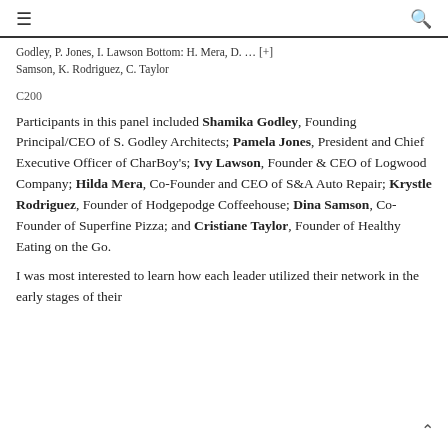≡   🔍
Godley, P. Jones, I. Lawson Bottom: H. Mera, D. … [+] Samson, K. Rodriguez, C. Taylor
C200
Participants in this panel included Shamika Godley, Founding Principal/CEO of S. Godley Architects; Pamela Jones, President and Chief Executive Officer of CharBoy's; Ivy Lawson, Founder & CEO of Logwood Company; Hilda Mera, Co-Founder and CEO of S&A Auto Repair; Krystle Rodriguez, Founder of Hodgepodge Coffeehouse; Dina Samson, Co-Founder of Superfine Pizza; and Cristiane Taylor, Founder of Healthy Eating on the Go.
I was most interested to learn how each leader utilized their network in the early stages of their